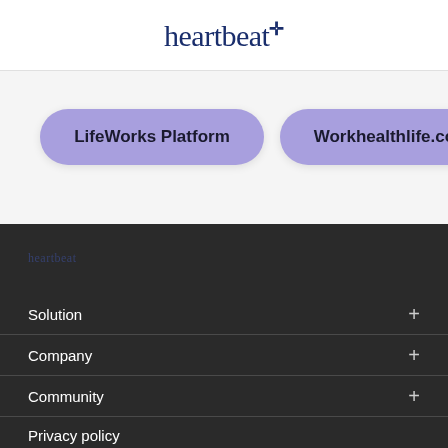[Figure (logo): Heartbeat+ logo in dark navy serif font with a plus/cross symbol]
LifeWorks Platform
Workhealthlife.com
[Figure (logo): Small heartbeat logo in dark section footer]
Solution
Company
Community
Privacy policy